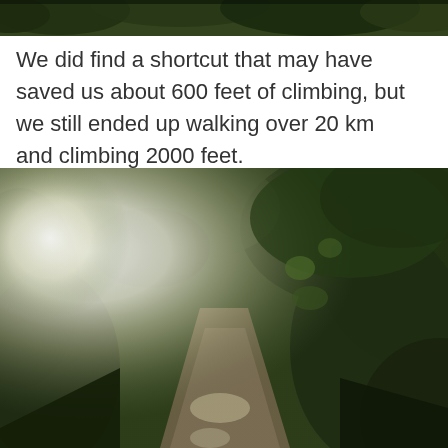[Figure (photo): Top strip of a forest/trees photo, showing dark green foliage at the top edge of the page.]
We did find a shortcut that may have saved us about 600 feet of climbing, but we still ended up walking over 20 km and climbing 2000 feet.
[Figure (photo): A sunlit forest trail with bright sun flare on the left side and dense green trees/bushes on both sides of a dirt path.]